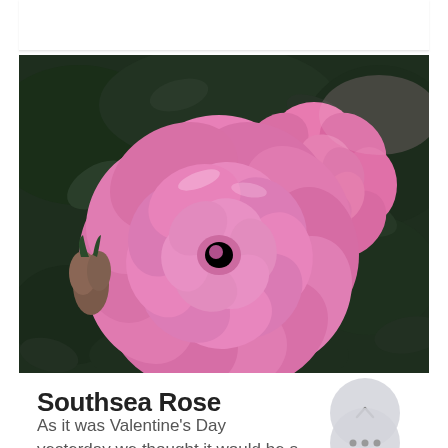[Figure (photo): Close-up photograph of pink roses with dark green foliage. Two blooming pink roses are visible, one large in the foreground and a second in the upper right. A rosebud is visible to the left. The roses have layered petals in a deep pink/magenta color.]
Southsea Rose Garden
As it was Valentine's Day yesterday we thought it would be a good idea to feature a few...